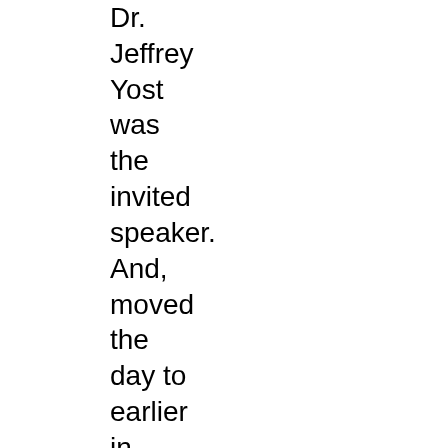Dr. Jeffrey Yost was the invited speaker. And, moved the day to earlier in November to provide separation from the 1st week of December UNIVAC Old Timers reunion.
In 2017, the committee of two